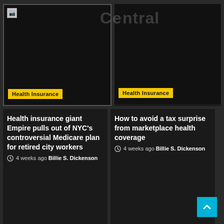[Figure (screenshot): Dark background image placeholder with broken image icon, left card, Health Insurance tag]
Health Insurance
[Figure (screenshot): Dark background image placeholder, right card, Health Insurance tag]
Health Insurance
Health insurance giant Empire pulls out of NYC's controversial Medicare plan for retired city workers
4 weeks ago  Billie S. Dickenson
How to avoid a tax surprise from marketplace health coverage
4 weeks ago  Billie S. Dickenson